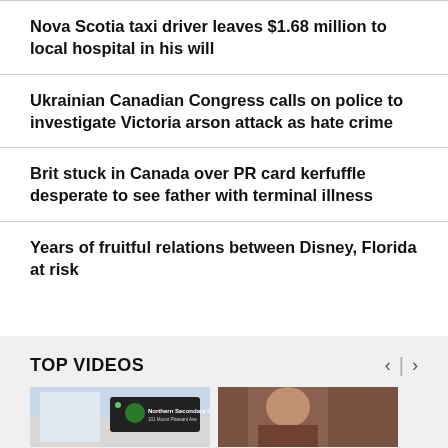Nova Scotia taxi driver leaves $1.68 million to local hospital in his will
Ukrainian Canadian Congress calls on police to investigate Victoria arson attack as hate crime
Brit stuck in Canada over PR card kerfuffle desperate to see father with terminal illness
Years of fruitful relations between Disney, Florida at risk
TOP VIDEOS
[Figure (photo): Two video thumbnails: left shows a school building with a Northern Secondary School sign, right shows a partial portrait photo]